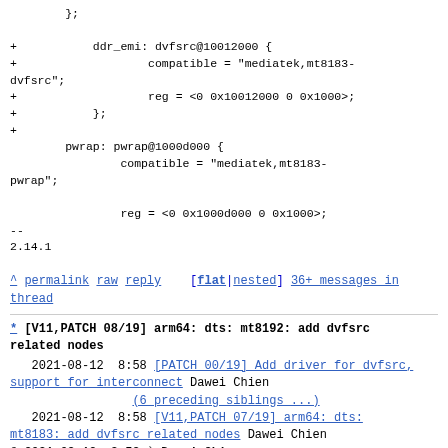};

+           ddr_emi: dvfsrc@10012000 {
+                   compatible = "mediatek,mt8183-dvfsrc";
+                   reg = <0 0x10012000 0 0x1000>;
+           };
+
            pwrap: pwrap@1000d000 {
                    compatible = "mediatek,mt8183-pwrap";

                    reg = <0 0x1000d000 0 0x1000>;
--
2.14.1
^ permalink raw reply [flat|nested] 36+ messages in thread
* [V11,PATCH 08/19] arm64: dts: mt8192: add dvfsrc related nodes
2021-08-12 8:58 [PATCH 00/19] Add driver for dvfsrc, support for interconnect Dawei Chien
  (6 preceding siblings ...)
2021-08-12 8:58 [V11,PATCH 07/19] arm64: dts: mt8183: add dvfsrc related nodes Dawei Chien
@ 2021-08-12 8:58 Dawei Chien
  2021-08-12 8:58 [V11,PATCH 09/19] arm64: dts: mt8195: " Dawei Chien